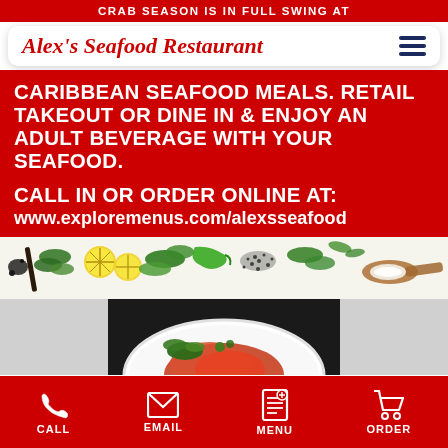CRAB SEASON IS IN FULL SWING AT
Alex's Seafood Restaurant
CARIBBEAN SEAFOOD MEALS. RETAIL TAKEOUT OR DINE IN & ENJOY AN ADULT BEVERAGE WITH YOUR SEAFOOD.
CALL IN OR ORDER ONLINE AT: www.exploremenus.com/alexsseafood
[Figure (photo): Herbs and ingredients including lemon slices, green herbs, black seeds, and a wooden spoon with salt scattered on a white background]
[Figure (photo): Dark background food dish photo showing a plate with red seafood dish and green garnish]
CALL  EMAIL  MENU  ORDER